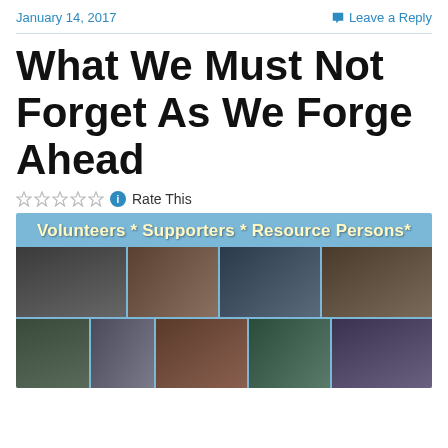January 14, 2017
Leave a Reply
What We Must Not Forget As We Forge Ahead
Rate This
[Figure (photo): Banner image showing a collage of volunteers, supporters, and resource persons at various community events. Text reads 'Volunteers * Supporters * Resource Persons*']